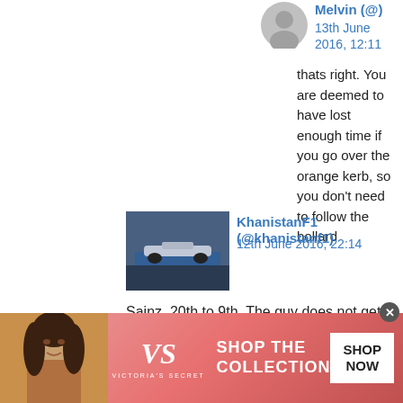[Figure (screenshot): Gray circular avatar placeholder for user Melvin]
Melvin (@)
13th June 2016, 12:11
thats right. You are deemed to have lost enough time if you go over the orange kerb, so you don't need to follow the bollard
[Figure (photo): Formula 1 car racing image used as KhanistanF1 avatar]
KhanistanF1 (@khanistanf1)
12th June 2016, 22:14
Sainz, 20th to 9th. The guy does not get enough credit imo
[Figure (photo): Gray circular avatar placeholder for user Jim Manna]
Jim Manna
12th June 2016, 22:25
[Figure (photo): Victoria's Secret advertisement banner with model and shop now button]